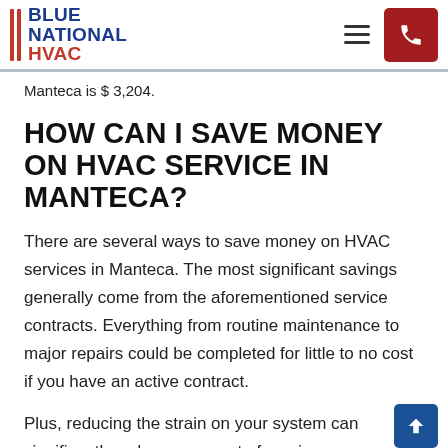BLUE NATIONAL HVAC
Manteca is $ 3,204.
HOW CAN I SAVE MONEY ON HVAC SERVICE IN MANTECA?
There are several ways to save money on HVAC services in Manteca. The most significant savings generally come from the aforementioned service contracts. Everything from routine maintenance to major repairs could be completed for little to no cost if you have an active contract.
Plus, reducing the strain on your system can significantly reduce your cost of service...